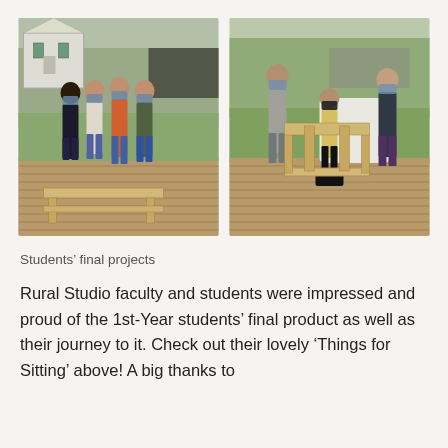[Figure (photo): Two side-by-side photos of students wearing masks, standing near wooden furniture pieces (benches/tables) they built. Left photo shows four students on a wooden deck in front of a white house with a low wooden bench/coffee table in front of them. Right photo shows three students on a deck with a wooden chair behind them.]
Students’ final projects
Rural Studio faculty and students were impressed and proud of the 1st-Year students’ final product as well as their journey to it. Check out their lovely ‘Things for Sitting’ above! A big thanks to